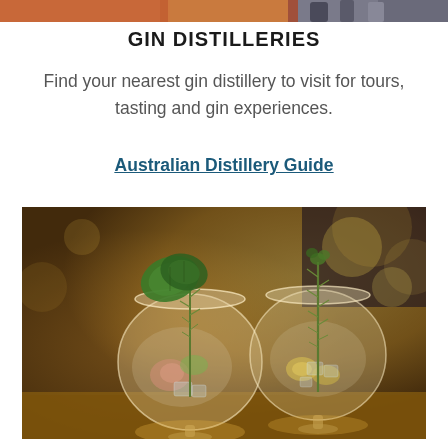[Figure (photo): Top banner image showing gin bottles and distillery related imagery with warm amber/orange tones]
GIN DISTILLERIES
Find your nearest gin distillery to visit for tours, tasting and gin experiences.
Australian Distillery Guide
[Figure (photo): Two large balloon gin glasses filled with ice, garnished with rosemary sprigs and fresh herbs including basil, set against a warm golden bokeh background]